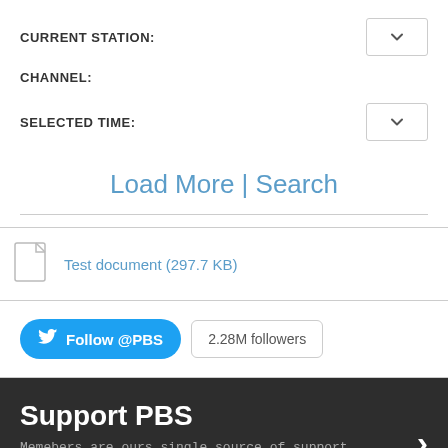CURRENT STATION:
CHANNEL:
SELECTED TIME:
Load More | Search
Test document (297.7 KB)
Follow @PBS  2.28M followers
Support PBS
Memebers are ours single source of support